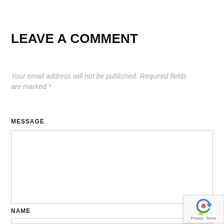LEAVE A COMMENT
Your email address will not be published. Required fields are marked *
MESSAGE
NAME